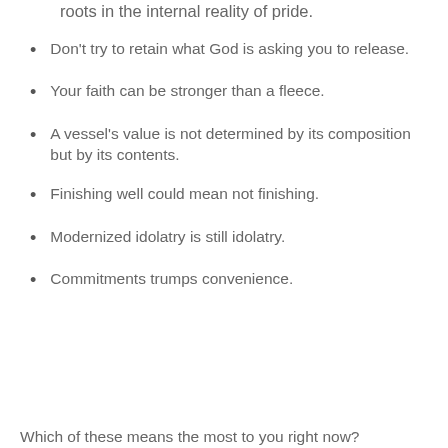roots in the internal reality of pride.
Don't try to retain what God is asking you to release.
Your faith can be stronger than a fleece.
A vessel's value is not determined by its composition but by its contents.
Finishing well could mean not finishing.
Modernized idolatry is still idolatry.
Commitments trumps convenience.
Which of these means the most to you right now?